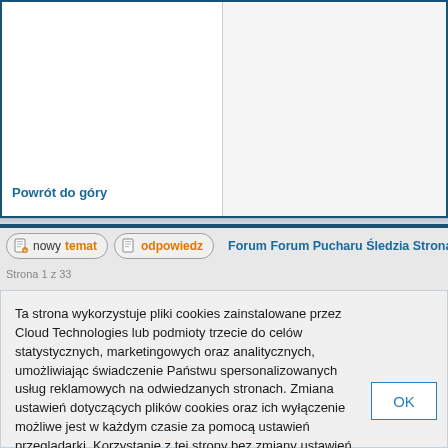Powrót do góry
[Figure (screenshot): Forum navigation toolbar with 'nowy temat' and 'odpowiedz' buttons and forum link text 'Forum Forum Pucharu Śledzia Strona Gł...']
Strona 1 z 33
Ta strona wykorzystuje pliki cookies zainstalowane przez Cloud Technologies lub podmioty trzecie do celów statystycznych, marketingowych oraz analitycznych, umożliwiając świadczenie Państwu spersonalizowanych usług reklamowych na odwiedzanych stronach. Zmiana ustawień dotyczących plików cookies oraz ich wyłączenie możliwe jest w każdym czasie za pomocą ustawień przeglądarki. Korzystanie z tej strony bez zmiany ustawień dotyczących plików cookies oznacza, że pliki cookies będą umieszczane w Państwa urządzeniu końcowym. Więcej informacji dotyczących wykorzystania plików cookies znajdziecie Państwo w naszej Polityce Prywatności.